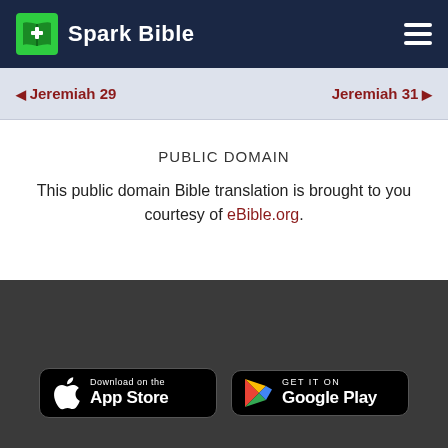Spark Bible
◀ Jeremiah 29    Jeremiah 31 ▶
PUBLIC DOMAIN
This public domain Bible translation is brought to you courtesy of eBible.org.
[Figure (screenshot): Download on the App Store button]
[Figure (screenshot): GET IT ON Google Play button]